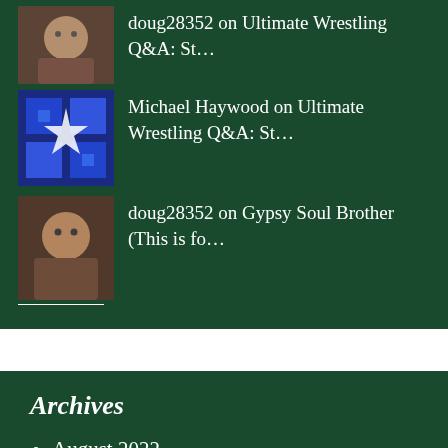doug28352 on Ultimate Wrestling Q&A: St…
Michael Haywood on Ultimate Wrestling Q&A: St…
doug28352 on Gypsy Soul Brother (This is fo…
Archives
August 2022
July 2022
June 2022
May 2022
April 2022